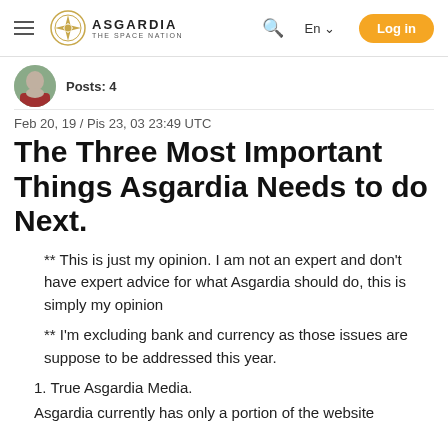ASGARDIA THE SPACE NATION | En | Log in
Posts: 4
Feb 20, 19 / Pis 23, 03 23:49 UTC
The Three Most Important Things Asgardia Needs to do Next.
** This is just my opinion. I am not an expert and don't have expert advice for what Asgardia should do, this is simply my opinion
** I'm excluding bank and currency as those issues are suppose to be addressed this year.
1. True Asgardia Media.
Asgardia currently has only a portion of the website